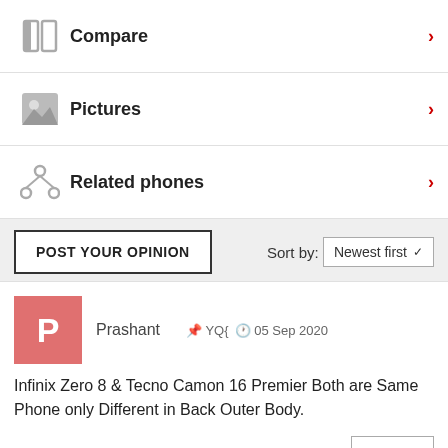Compare
Pictures
Related phones
POST YOUR OPINION    Sort by: Newest first
Prashant   YQ{   05 Sep 2020
Infinix Zero 8 & Tecno Camon 16 Premier Both are Same Phone only Different in Back Outer Body.
REPLY